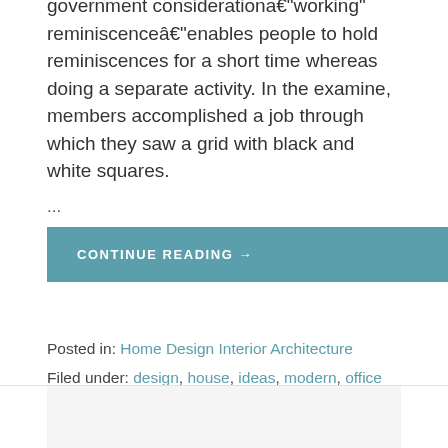government considerationa€"working" reminiscenceâ€"enables people to hold reminiscences for a short time whereas doing a separate activity. In the examine, members accomplished a job through which they saw a grid with black and white squares.
...
CONTINUE READING →
Posted in: Home Design Interior Architecture
Filed under: design, house, ideas, modern, office